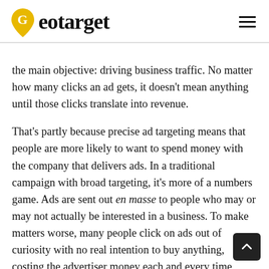Geotarget
the main objective: driving business traffic. No matter how many clicks an ad gets, it doesn't mean anything until those clicks translate into revenue.
That's partly because precise ad targeting means that people are more likely to want to spend money with the company that delivers ads. In a traditional campaign with broad targeting, it's more of a numbers game. Ads are sent out en masse to people who may or may not actually be interested in a business. To make matters worse, many people click on ads out of curiosity with no real intention to buy anything, costing the advertiser money each and every time without much hope for ROI.